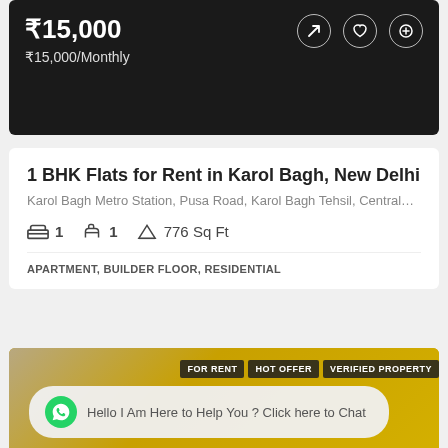[Figure (photo): Dark property photo with price overlay showing ₹15,000 and action icons]
1 BHK Flats for Rent in Karol Bagh, New Delhi
Karol Bagh Metro Station, Pusa Road, Karol Bagh Tehsil, Central…
1  1  776 Sq Ft
APARTMENT, BUILDER FLOOR, RESIDENTIAL
Skyproperties  8 months ago
[Figure (photo): Interior kitchen photo with yellow cabinets and FOR RENT, HOT OFFER, VERIFIED PROPERTY badges]
Hello I Am Here to Help You ? Click here to Chat